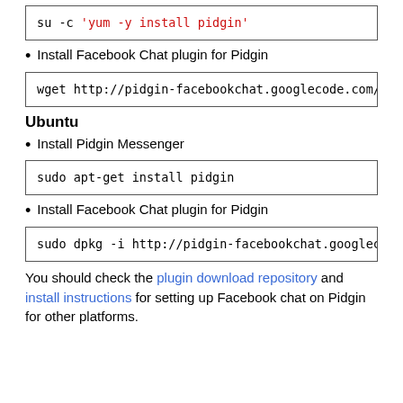[Figure (screenshot): Code box showing: su -c 'yum -y install pidgin']
Install Facebook Chat plugin for Pidgin
[Figure (screenshot): Code box showing: wget http://pidgin-facebookchat.googlecode.com/f]
Ubuntu
Install Pidgin Messenger
[Figure (screenshot): Code box showing: sudo apt-get install pidgin]
Install Facebook Chat plugin for Pidgin
[Figure (screenshot): Code box showing: sudo dpkg -i http://pidgin-facebookchat.googleco]
You should check the plugin download repository and install instructions for setting up Facebook chat on Pidgin for other platforms.